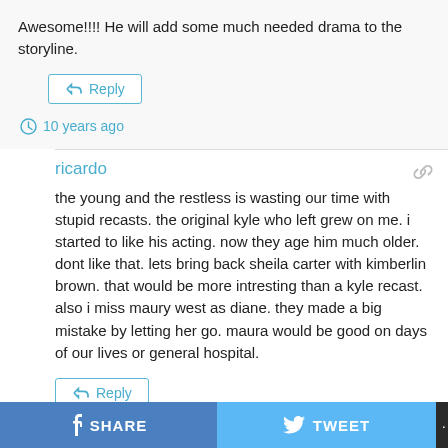Awesome!!!! He will add some much needed drama to the storyline.
Reply
10 years ago
ricardo
the young and the restless is wasting our time with stupid recasts. the original kyle who left grew on me. i started to like his acting. now they age him much older. dont like that. lets bring back sheila carter with kimberlin brown. that would be more intresting than a kyle recast. also i miss maury west as diane. they made a big mistake by letting her go. maura would be good on days of our lives or general hospital.
Reply
SHARE   TWEET   ...